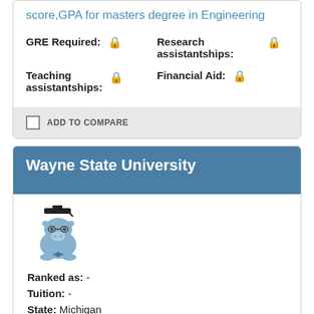score,GPA for masters degree in Engineering
GRE Required: 🔒
Research assistantships: 🔒
Teaching assistantships: 🔒
Financial Aid: 🔒
ADD TO COMPARE
Wayne State University
[Figure (illustration): Cartoon hippo mascot wearing graduation cap and glasses]
Ranked as:  -
Tuition:  -
State:  Michigan